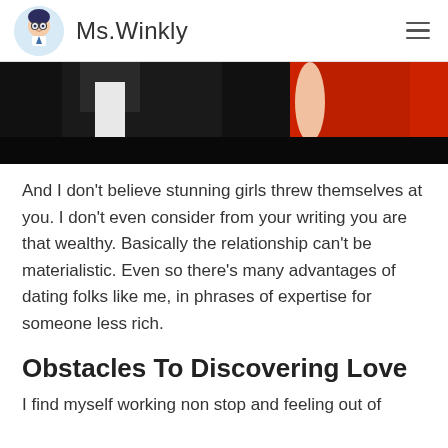Ms.Winkly
[Figure (photo): Partial photo of a man in a black suit and a woman in a red dress, cropped at the top]
And I don’t believe stunning girls threw themselves at you. I don’t even consider from your writing you are that wealthy. Basically the relationship can’t be materialistic. Even so there’s many advantages of dating folks like me, in phrases of expertise for someone less rich.
Obstacles To Discovering Love
I find myself working non stop and feeling out of